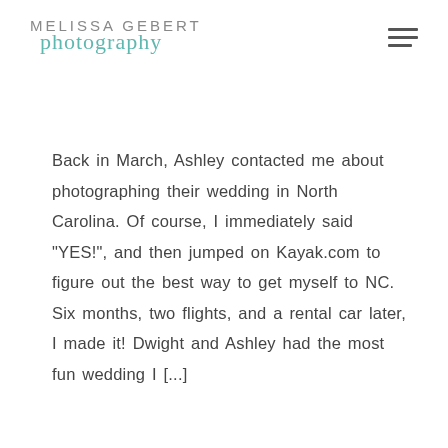MELISSA GEBERT photography
Back in March, Ashley contacted me about photographing their wedding in North Carolina. Of course, I immediately said “YES!”, and then jumped on Kayak.com to figure out the best way to get myself to NC. Six months, two flights, and a rental car later, I made it! Dwight and Ashley had the most fun wedding I [...]